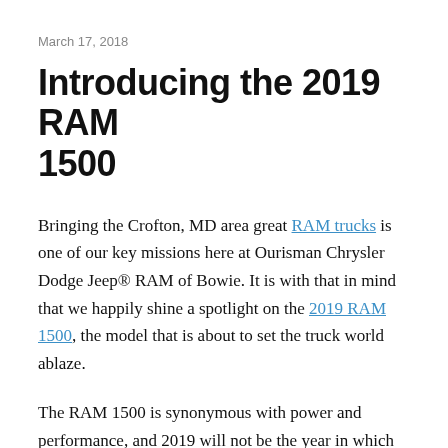March 17, 2018
Introducing the 2019 RAM 1500
Bringing the Crofton, MD area great RAM trucks is one of our key missions here at Ourisman Chrysler Dodge Jeep® RAM of Bowie. It is with that in mind that we happily shine a spotlight on the 2019 RAM 1500, the model that is about to set the truck world ablaze.
The RAM 1500 is synonymous with power and performance, and 2019 will not be the year in which that changes. When you see it, you will know that it is undeniably a RAM 1500 despite its